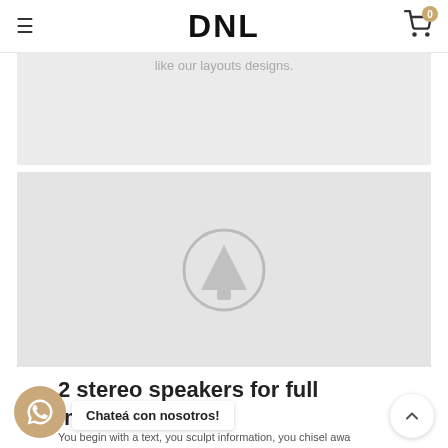DNL
like our layouts designs.
[Figure (illustration): Light gray placeholder image area with a centered circular play/up-arrow icon in muted gray]
2 stereo speakers for full immersion.
You begin with a text, you sculpt information, you chisel away...
Chateá con nosotros!